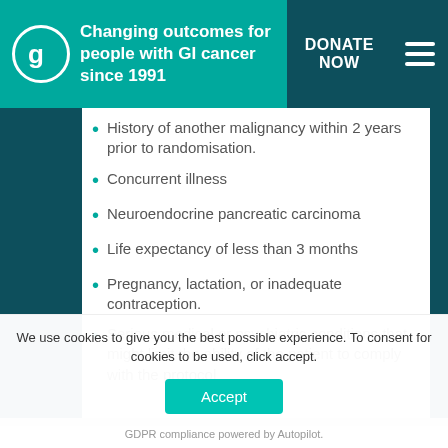Changing outcomes for people with GI cancer since 1991 | DONATE NOW
History of another malignancy within 2 years prior to randomisation.
Concurrent illness
Neuroendocrine pancreatic carcinoma
Life expectancy of less than 3 months
Pregnancy, lactation, or inadequate contraception.
Serious medical or psychiatric conditions that might limit the ability of the patient to comply with the protocol
We use cookies to give you the best possible experience. To consent for cookies to be used, click accept.
Accept
GDPR compliance powered by Autopilot.